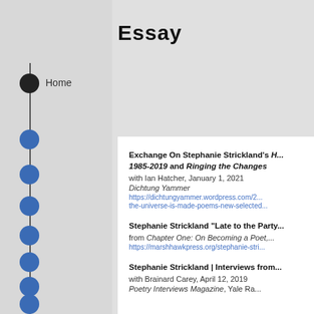Essay
Home
Exchange On Stephanie Strickland's H... 1985-2019 and Ringing the Changes
with Ian Hatcher, January 1, 2021
Dichtung Yammer
https://dichtungyammer.wordpress.com/2... the-universe-is-made-poems-new-selected...
Stephanie Strickland “Late to the Party...
from Chapter One: On Becoming a Poet,...
https://marshhawkpress.org/stephanie-stri...
Stephanie Strickland | Interviews from...
with Brainard Carey, April 12, 2019
Poetry Interviews Magazine, Yale Radio...